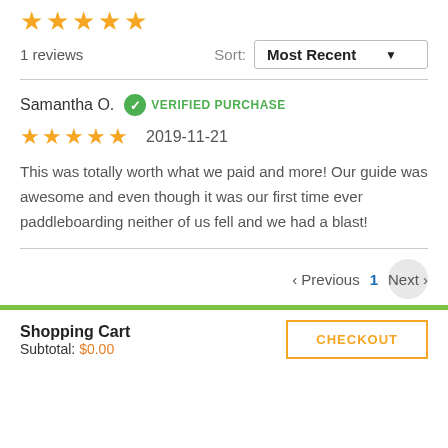[Figure (other): Five orange star rating icons at top]
1 reviews
Sort: Most Recent
Samantha O.   VERIFIED PURCHASE
[Figure (other): Four and a half orange star rating icons with date 2019-11-21]
This was totally worth what we paid and more! Our guide was awesome and even though it was our first time ever paddleboarding neither of us fell and we had a blast!
< Previous   1   Next >
Shopping Cart
Subtotal: $0.00
CHECKOUT